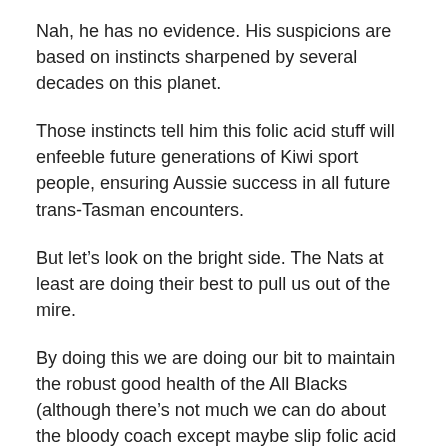Nah, he has no evidence. His suspicions are based on instincts sharpened by several decades on this planet.
Those instincts tell him this folic acid stuff will enfeeble future generations of Kiwi sport people, ensuring Aussie success in all future trans-Tasman encounters.
But let’s look on the bright side. The Nats at least are doing their best to pull us out of the mire.
By doing this we are doing our bit to maintain the robust good health of the All Blacks (although there’s not much we can do about the bloody coach except maybe slip folic acid into his beer).
Food Safety Minister Kate Wilkinson said yesterday that she could reverse the 2007 decision to make folic acid mandatory in most bread from September regardless of